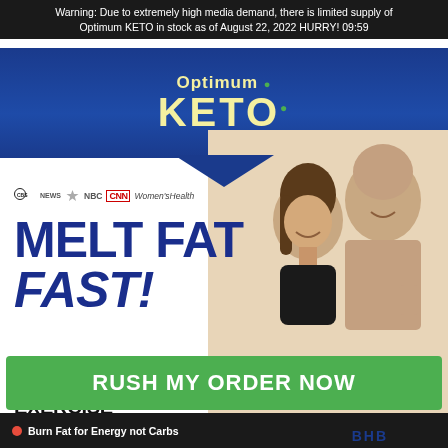Warning: Due to extremely high media demand, there is limited supply of Optimum KETO in stock as of August 22, 2022 HURRY! 09:59
[Figure (logo): Optimum KETO logo on dark blue background with yellow text and green leaf accent]
[Figure (photo): Fit man and woman posing, woman in foreground with dark hair in sports wear, man behind her shirtless]
CBS NEWS NBC CNN Women'sHealth
MELT FAT FAST!
WITHOUT DIET OR EXERCISE
Powerful New Formula Triggers F...
Burn Fat for Energy not Carbs
BHB
RUSH MY ORDER NOW